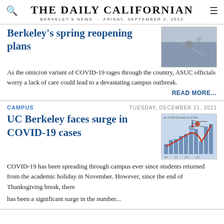THE DAILY CALIFORNIAN
BERKELEY'S NEWS · FRIDAY, SEPTEMBER 2, 2022
Berkeley's spring reopening plans
As the omicron variant of COVID-19 rages through the country, ASUC officials worry a lack of care could lead to a devastating campus outbreak.
READ MORE…
CAMPUS
TUESDAY, DECEMBER 21, 2021
UC Berkeley faces surge in COVID-19 cases
[Figure (other): Chart showing active COVID-19 cases at UC Berkeley with bar graph and red trend line]
COVID-19 has been spreading through campus ever since students returned from the academic holiday in November. However, since the end of Thanksgiving break, there has been a significant surge in the number...